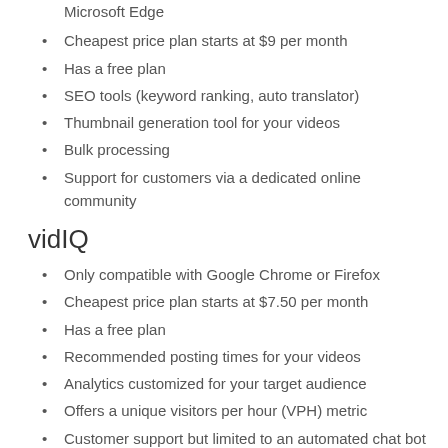Compatible with Google Chrome, Firefox, Safari, and Microsoft Edge
Cheapest price plan starts at $9 per month
Has a free plan
SEO tools (keyword ranking, auto translator)
Thumbnail generation tool for your videos
Bulk processing
Support for customers via a dedicated online community
vidIQ
Only compatible with Google Chrome or Firefox
Cheapest price plan starts at $7.50 per month
Has a free plan
Recommended posting times for your videos
Analytics customized for your target audience
Offers a unique visitors per hour (VPH) metric
Customer support but limited to an automated chat bot